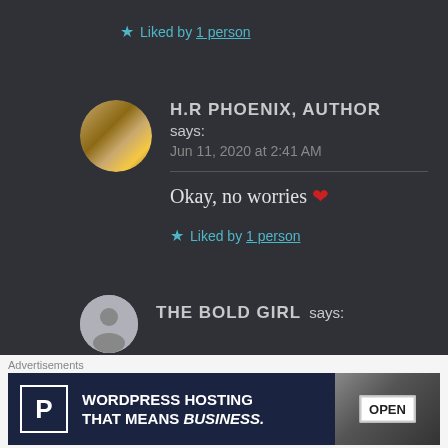★ Liked by 1 person
H.R PHOENIX, AUTHOR says:
Jun 11, 2020 at 2:41 AM
Okay, no worries ❤
★ Liked by 1 person
THE BOLD GIRL says:
[Figure (screenshot): WordPress hosting advertisement banner: 'WORDPRESS HOSTING THAT MEANS BUSINESS.' with a P logo and an OPEN sign image]